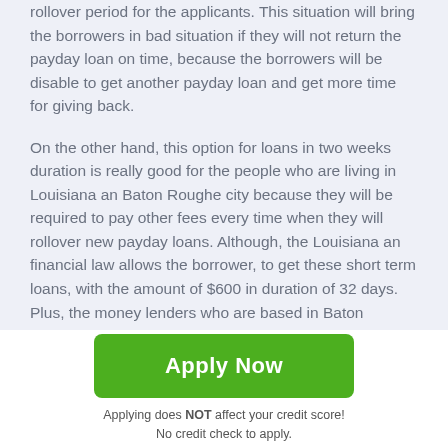rollover period for the applicants. This situation will bring the borrowers in bad situation if they will not return the payday loan on time, because the borrowers will be disable to get another payday loan and get more time for giving back.
On the other hand, this option for loans in two weeks duration is really good for the people who are living in Louisiana an Baton Roughe city because they will be required to pay other fees every time when they will rollover new payday loans. Although, the Louisiana an financial law allows the borrower, to get these short term loans, with the amount of $600 in duration of 32 days. Plus, the money lenders who are based in Baton Roughe the
[Figure (other): Green 'Apply Now' button]
Applying does NOT affect your credit score!
No credit check to apply.